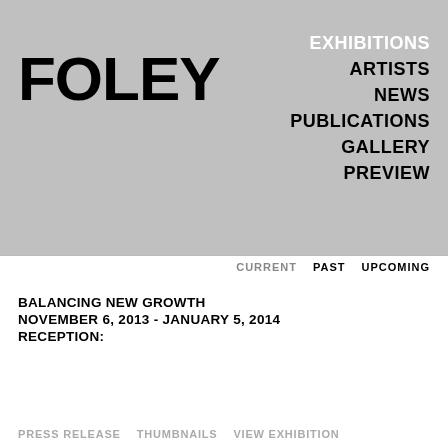FOLEY
EXHIBITIONS
ARTISTS
NEWS
PUBLICATIONS
GALLERY
PREVIEW
CURRENT   PAST   UPCOMING
BALANCING NEW GROWTH
NOVEMBER 6, 2013 - JANUARY 5, 2014
RECEPTION:
PRESS RELEASE   THUMBNAILS   VIEW EXHIBITION